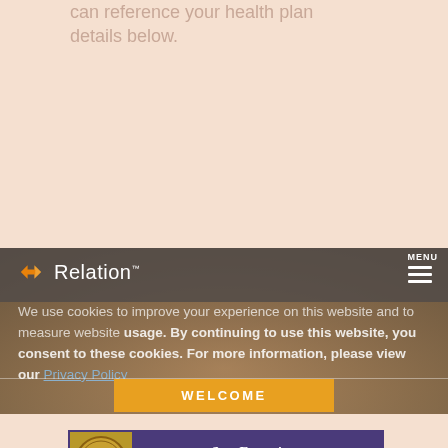can reference your health plan details below.
[Figure (screenshot): Relation Insurance website header with logo showing orange hexagon icon and 'Relation' text in white, MENU hamburger icon in top right, overlaid on a photo of a group of smiling people]
We use cookies to improve your experience on this website and to measure website usage. By continuing to use this website, you consent to these cookies. For more information, please view our Privacy Policy
WELCOME
[Figure (logo): San Francisco State University logo: gold seal on left, purple background with 'SAN FRANCISCO STATE UNIVERSITY' text in white serif font on right]
Below you will find useful information about the San Francisco State University